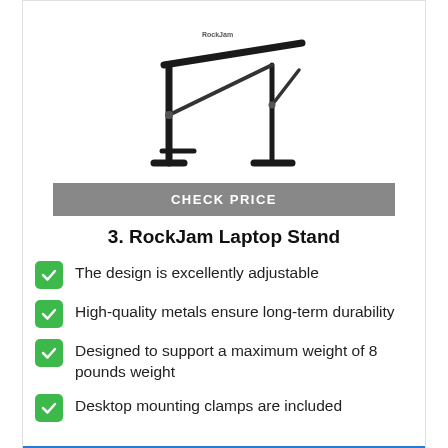[Figure (photo): Photo of a RockJam laptop stand, black metal folding stand with adjustable arms, viewed from a slight angle.]
CHECK PRICE
3. RockJam Laptop Stand
The design is excellently adjustable
High-quality metals ensure long-term durability
Designed to support a maximum weight of 8 pounds weight
Desktop mounting clamps are included
Check Price
You can then assess some of the DJ laptop stand options now that you've decided what kind of stand you need. With the goal of saving you time and effort, we've examined